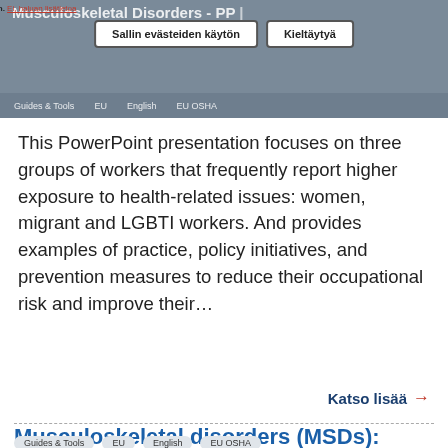tietojen keräämiseen. Ei, haluan lisätietoa
Musculoskeletal Disorders - PP |
Sallin evästeiden käytön  Kieltäytyä
Guides & Tools  EU  English  EU OSHA
This PowerPoint presentation focuses on three groups of workers that frequently report higher exposure to health-related issues: women, migrant and LGBTI workers. And provides examples of practice, policy initiatives, and prevention measures to reduce their occupational risk and improve their…
Katso lisää →
Musculoskeletal disorders (MSDs): identifying and preventing risks for women, migrant and LGBTI workers
Guides & Tools  EU  English  EU OSHA